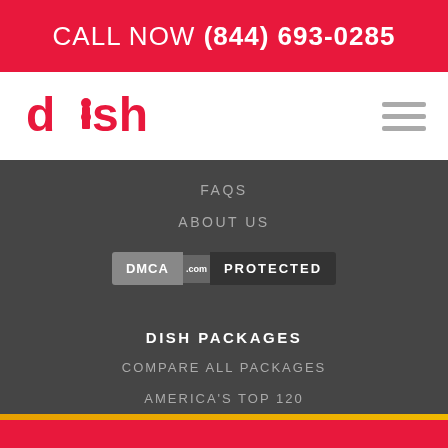CALL NOW (844) 693-0285
[Figure (logo): DISH Network logo in red with stylized 'dish.' text]
FAQS
ABOUT US
[Figure (other): DMCA.com PROTECTED badge]
DISH PACKAGES
COMPARE ALL PACKAGES
AMERICA'S TOP 120
Order Online  / Call Now